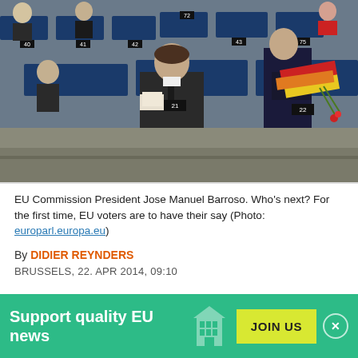[Figure (photo): Interior of European Parliament chamber showing seated MEPs at numbered blue desks. A man in a suit sits at desk 21, and another figure near desk 22 holds a colorful flag or cloth with flowers. Several other parliament members visible in background rows with numbered desk placards.]
EU Commission President Jose Manuel Barroso. Who's next? For the first time, EU voters are to have their say (Photo: europarl.europa.eu)
By DIDIER REYNDERS
BRUSSELS, 22. APR 2014, 09:10
Support quality EU news JOIN US